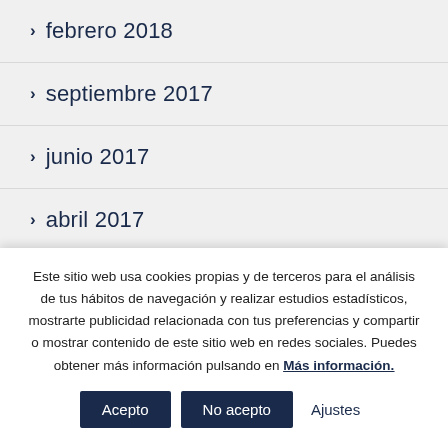> febrero 2018
> septiembre 2017
> junio 2017
> abril 2017
> febrero 2017
Este sitio web usa cookies propias y de terceros para el análisis de tus hábitos de navegación y realizar estudios estadísticos, mostrarte publicidad relacionada con tus preferencias y compartir o mostrar contenido de este sitio web en redes sociales. Puedes obtener más información pulsando en Más información.
Acepto | No acepto | Ajustes